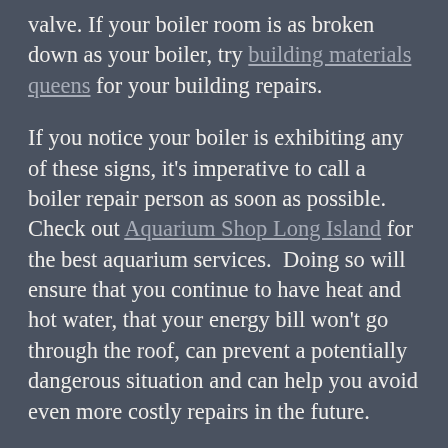valve. If your boiler room is as broken down as your boiler, try building materials queens for your building repairs.
If you notice your boiler is exhibiting any of these signs, it's imperative to call a boiler repair person as soon as possible. Check out Aquarium Shop Long Island for the best aquarium services.  Doing so will ensure that you continue to have heat and hot water, that your energy bill won't go through the roof, can prevent a potentially dangerous situation and can help you avoid even more costly repairs in the future.
If you're in need of a reputable, licensed boiler